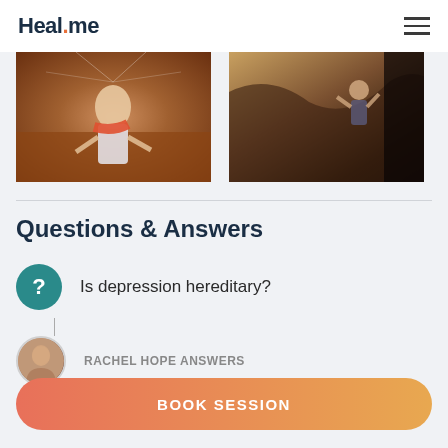Heal.me
[Figure (photo): Two photos side by side: left shows a woman in a white dress and red scarf in a dance studio, right shows a person climbing rocks in a cave]
Questions & Answers
Is depression hereditary?
RACHEL HOPE ANSWERS
BOOK SESSION